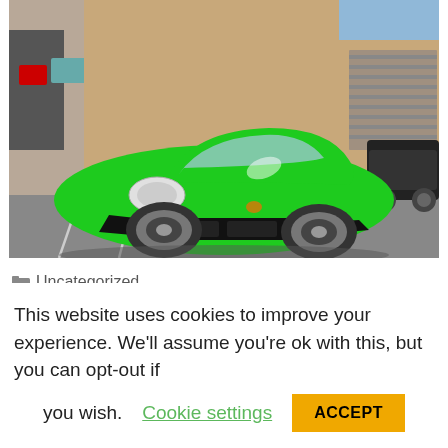[Figure (photo): A bright green Porsche 911 sports car parked in front of a tan/beige commercial building with garage doors. Another dark SUV is partially visible on the right side.]
Uncategorized
las vegas paint protection, las vegas sun...
This website uses cookies to improve your experience. We'll assume you're ok with this, but you can opt-out if you wish. Cookie settings ACCEPT